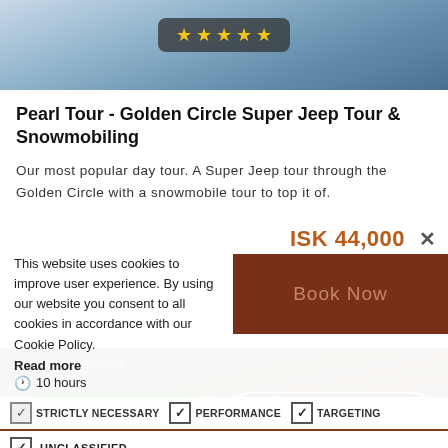[Figure (photo): Hero image of snowy mountain landscape with dark stars rating badge overlay]
Pearl Tour - Golden Circle Super Jeep Tour & Snowmobiling
Our most popular day tour. A Super Jeep tour through the Golden Circle with a snowmobile tour to top it of.
ISK 44,000
This website uses cookies to improve user experience. By using our website you consent to all cookies in accordance with our Cookie Policy.
Read more
Book Now
10 hours
STRICTLY NECESSARY   PERFORMANCE   TARGETING
UNCLASSIFIED
SHOW DETAILS
[Figure (photo): Landscape photo of colorful mountainous terrain with a hiker]
I AGREE
I DISAGREE